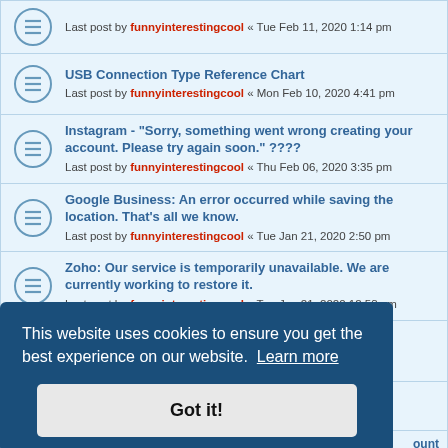Last post by funnyinterestingcool « Tue Feb 11, 2020 1:14 pm
USB Connection Type Reference Chart
Last post by funnyinterestingcool « Mon Feb 10, 2020 4:41 pm
Instagram - "Sorry, something went wrong creating your account. Please try again soon." ????
Last post by funnyinterestingcool « Thu Feb 06, 2020 3:35 pm
Google Business: An error occurred while saving the location. That's all we know.
Last post by funnyinterestingcool « Tue Jan 21, 2020 2:50 pm
Zoho: Our service is temporarily unavailable. We are currently working to restore it.
Last post by funnyinterestingcool « Tue Jan 21, 2020 12:53 pm
It's not you. It's us. (eBay Error) anyone else??
Last post by funnyinterestingcool « Mon Jan 20, 2020 7:18 pm
Facebook Mobile: Posts can't be loaded right now.
This website uses cookies to ensure you get the best experience on our website. Learn more
Got it!